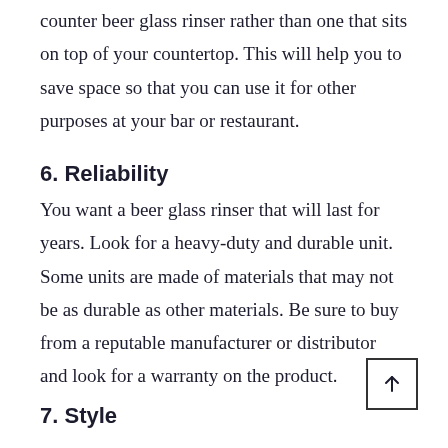counter beer glass rinser rather than one that sits on top of your countertop. This will help you to save space so that you can use it for other purposes at your bar or restaurant.
6. Reliability
You want a beer glass rinser that will last for years. Look for a heavy-duty and durable unit. Some units are made of materials that may not be as durable as other materials. Be sure to buy from a reputable manufacturer or distributor and look for a warranty on the product.
7. Style